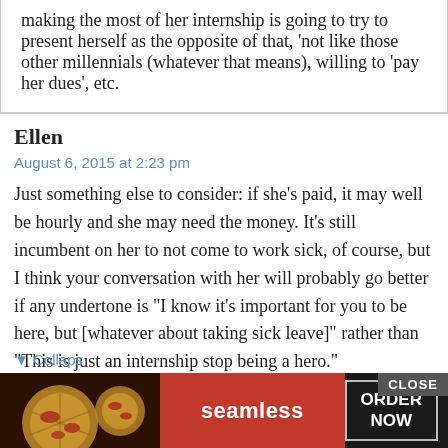making the most of her internship is going to try to present herself as the opposite of that, ‘not like those other millennials (whatever that means), willing to ‘pay her dues’, etc.
Ellen
August 6, 2015 at 2:23 pm
Just something else to consider: if she’s paid, it may well be hourly and she may need the money. It’s still incumbent on her to not come to work sick, of course, but I think your conversation with her will probably go better if any undertone is “I know it’s important for you to be here, but [whatever about taking sick leave]” rather than “This is just an internship stop being a hero.”
[Figure (other): Seamless food delivery advertisement banner with pizza image, red Seamless logo, and ORDER NOW button, with a CLOSE button in the top right corner.]